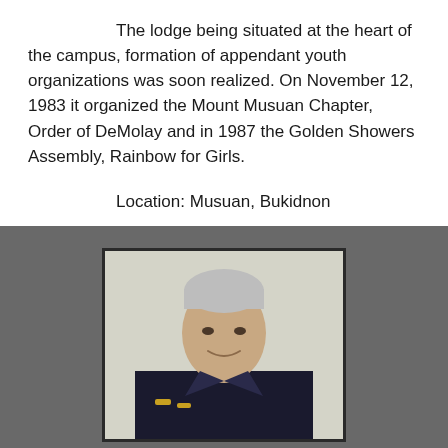The lodge being situated at the heart of the campus, formation of appendant youth organizations was soon realized. On November 12, 1983 it organized the Mount Musuan Chapter, Order of DeMolay and in 1987 the Golden Showers Assembly, Rainbow for Girls.
Location: Musuan, Bukidnon
[Figure (other): RSS feed icon — small orange square with white RSS symbol]
[Figure (photo): Portrait photograph of an elderly Asian man with white hair, wearing a dark formal uniform with medals/insignia, smiling slightly, photographed against a light background, framed with a dark border]